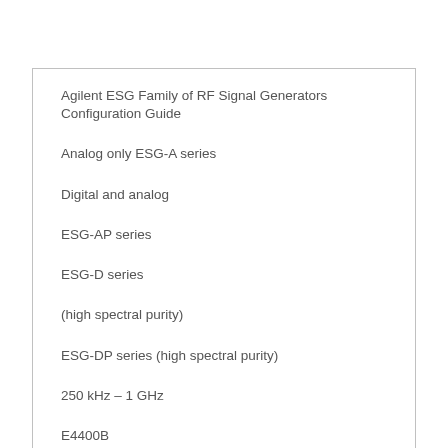Agilent ESG Family of RF Signal Generators Configuration Guide
Analog only ESG-A series
Digital and analog
ESG-AP series
ESG-D series
(high spectral purity)
ESG-DP series (high spectral purity)
250 kHz – 1 GHz
E4400B